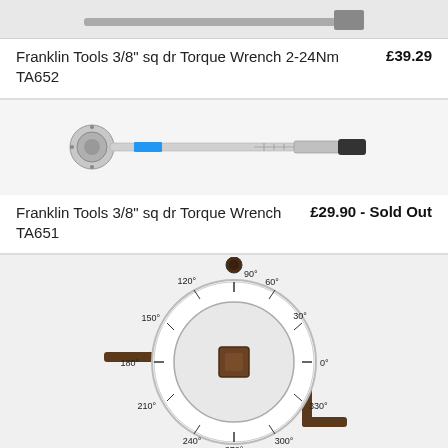[Figure (photo): Partial view of a product image at the top of the page (cropped, partially visible torque wrench or similar tool)]
Franklin Tools 3/8" sq dr Torque Wrench 2-24Nm TA652
£39.29
[Figure (photo): Franklin Tools 3/8" sq dr Torque Wrench TA651 — a silver click-type torque wrench with ratchet head and blue label, shown horizontally on white background]
Franklin Tools 3/8" sq dr Torque Wrench TA651
£29.90 - Sold Out
[Figure (photo): Angle torque meter / dial gauge tool — a white circular dial with degree markings (0°, 30°, 60°, 90°, 120°, 150°, 180°, 210°, 240°, 270°, 300°, 330°) with a square drive center and a brown/dark L-shaped bar, viewed from above]